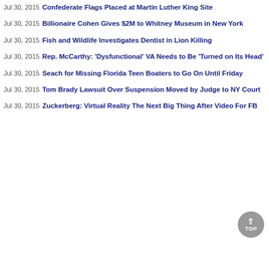Jul 30, 2015 Confederate Flags Placed at Martin Luther King Site
Jul 30, 2015 Billionaire Cohen Gives $2M to Whitney Museum in New York
Jul 30, 2015 Fish and Wildlife Investigates Dentist in Lion Killing
Jul 30, 2015 Rep. McCarthy: 'Dysfunctional' VA Needs to Be 'Turned on Its Head'
Jul 30, 2015 Seach for Missing Florida Teen Boaters to Go On Until Friday
Jul 30, 2015 Tom Brady Lawsuit Over Suspension Moved by Judge to NY Court
Jul 30, 2015 Zuckerberg: Virtual Reality The Next Big Thing After Video For FB